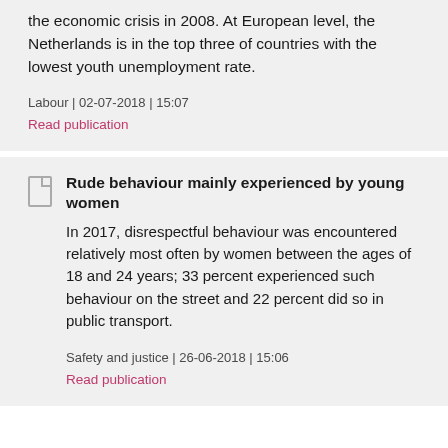the economic crisis in 2008. At European level, the Netherlands is in the top three of countries with the lowest youth unemployment rate.
Labour | 02-07-2018 | 15:07
Read publication
Rude behaviour mainly experienced by young women
In 2017, disrespectful behaviour was encountered relatively most often by women between the ages of 18 and 24 years; 33 percent experienced such behaviour on the street and 22 percent did so in public transport.
Safety and justice | 26-06-2018 | 15:06
Read publication